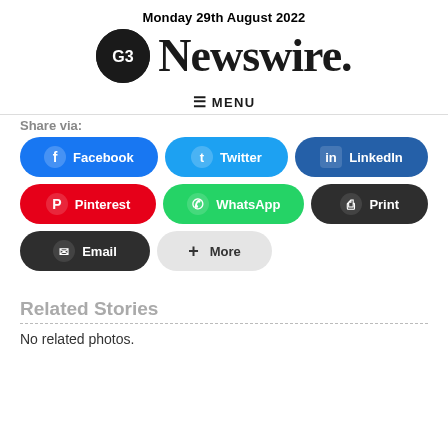Monday 29th August 2022
Newswire.
≡ MENU
Share via:
Facebook | Twitter | LinkedIn | Pinterest | WhatsApp | Print | Email | More
Related Stories
No related photos.